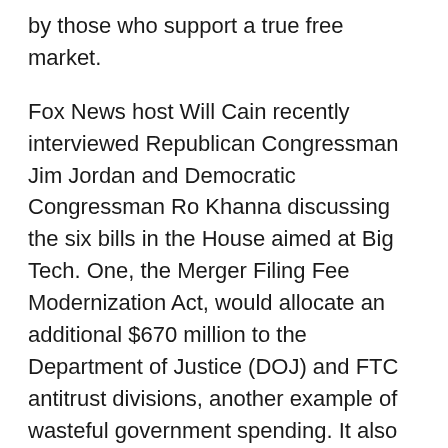by those who support a true free market.
Fox News host Will Cain recently interviewed Republican Congressman Jim Jordan and Democratic Congressman Ro Khanna discussing the six bills in the House aimed at Big Tech. One, the Merger Filing Fee Modernization Act, would allocate an additional $670 million to the Department of Justice (DOJ) and FTC antitrust divisions, another example of wasteful government spending. It also extorts companies for the privilege of merging. Another bill would create a Bureau of Digital Markets to enforce the new regulations—one more agency created to “protect” us.
According to another proposed bill, the Ending Platform Monopolies Act, it would be illegal for a dominant platform to create their own line of businesses to crush less mature or potential competitors. Isn’t trying to “kill” competition the very essence of competition? Nevertheless, this terminology is actually not correct. The only reason Apple